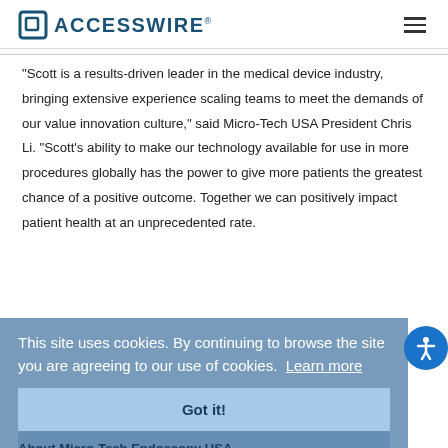ACCESSWIRE
"Scott is a results-driven leader in the medical device industry, bringing extensive experience scaling teams to meet the demands of our value innovation culture," said Micro-Tech USA President Chris Li. "Scott's ability to make our technology available for use in more procedures globally has the power to give more patients the greatest chance of a positive outcome. Together we can positively impact patient health at an unprecedented rate.
This site uses cookies. By continuing to browse the site you are agreeing to our use of cookies.  Learn more
Got it!
For more information about Micro-Tech Endoscopy and its products, visit mtendoscopy.com.
About Micro-Tech Endoscopy USA
Since 2000, Micro-Tech Endoscopy has been focused on creating